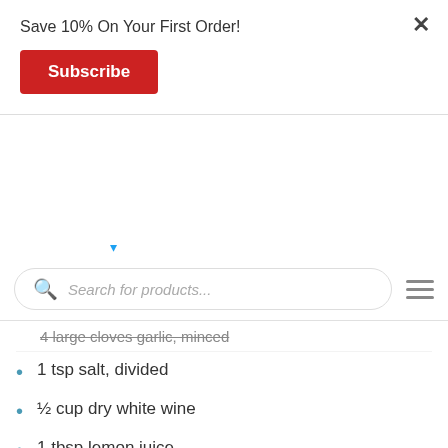Save 10% On Your First Order!
Subscribe
Search for products...
4 large cloves garlic, minced
1 tsp salt, divided
½ cup dry white wine
1 tbsp lemon juice
¼ cup + tbsp heavy cream
½ tsp sugar
¼ tsp crushed red pepper flakes
12 oz tagliatelle pasta
1 lb cooked Maine Lobster claw and knuckles, thawed